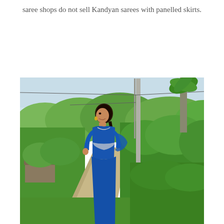saree shops do not sell Kandyan sarees with panelled skirts.
[Figure (photo): A woman wearing a blue saree/blouse with a white trim detail, standing outdoors on a road surrounded by lush green trees and vegetation. A concrete pole is visible in the background. The setting appears to be a rural Sri Lankan landscape.]